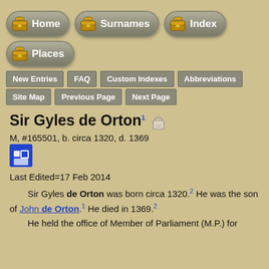[Figure (screenshot): Navigation buttons row 1: Home, Surnames, Index (large rounded grey buttons with chest icons)]
[Figure (screenshot): Navigation button row 2: Places (large rounded grey button with chest icon)]
New Entries
FAQ
Custom Indexes
Abbreviations
Site Map
Previous Page
Next Page
Sir Gyles de Orton
M, #165501, b. circa 1320, d. 1369
Last Edited=17 Feb 2014
Sir Gyles de Orton was born circa 1320.2 He was the son of John de Orton.1 He died in 1369.2
He held the office of Member of Parliament (M.P.) for